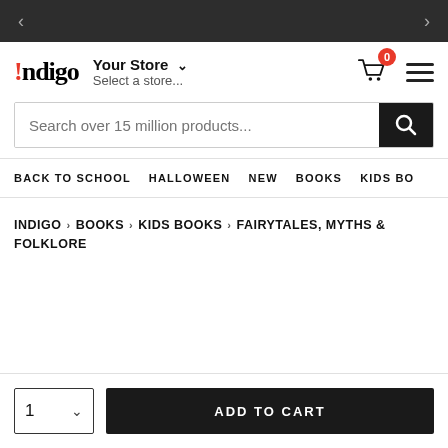[Figure (screenshot): Dark top navigation bar with left arrow and right arrow navigation controls]
[Figure (logo): Indigo bookstore logo with '!ndigo' text]
Your Store ∨
Select a store...
[Figure (other): Shopping cart icon with red badge showing 0, and hamburger menu icon]
Search over 15 million products...
BACK TO SCHOOL   HALLOWEEN   NEW   BOOKS   KIDS BO
INDIGO > BOOKS > KIDS BOOKS > FAIRYTALES, MYTHS & FOLKLORE
1  ADD TO CART